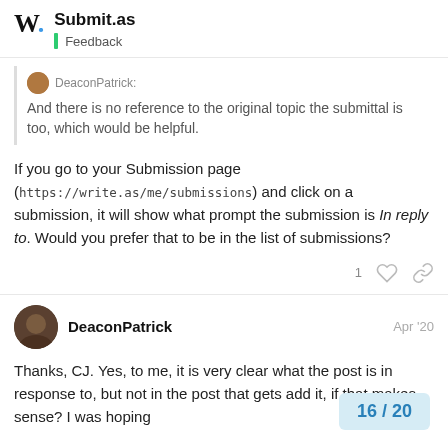Submit.as | Feedback
DeaconPatrick:
And there is no reference to the original topic the submittal is too, which would be helpful.
If you go to your Submission page (https://write.as/me/submissions) and click on a submission, it will show what prompt the submission is In reply to. Would you prefer that to be in the list of submissions?
1
DeaconPatrick Apr '20
Thanks, CJ. Yes, to me, it is very clear what the post is in response to, but not in the post that gets add it, if that makes sense? I was hoping
16 / 20